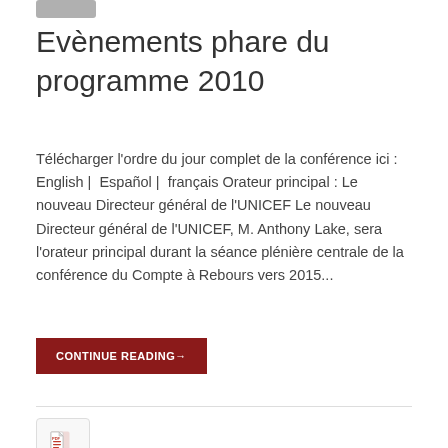Evènements phare du programme 2010
Télécharger l'ordre du jour complet de la conférence ici :   English |  Español |  français Orateur principal : Le nouveau Directeur général de l'UNICEF Le nouveau Directeur général de l'UNICEF, M. Anthony Lake, sera l'orateur principal durant la séance plénière centrale de la conférence du Compte à Rebours vers 2015...
CONTINUE READING→
[Figure (other): PDF file icon]
2010 Programme Highlights